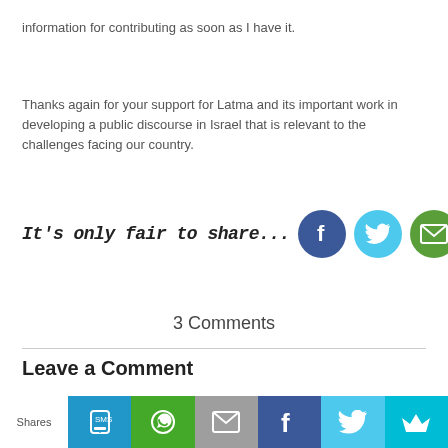information for contributing as soon as I have it.
Thanks again for your support for Latma and its important work in developing a public discourse in Israel that is relevant to the challenges facing our country.
[Figure (infographic): Share icons row: handwritten italic text 'It's only fair to share...' followed by Facebook (dark blue circle with F), Twitter (light blue circle with bird), and Email (green circle with envelope) share buttons.]
3 Comments
Leave a Comment
[Figure (infographic): Bottom shares bar with label 'Shares' and five colored buttons: SMS (blue, phone icon), WhatsApp (green, WhatsApp icon), Email (grey, envelope icon), Facebook (dark blue, F icon), Twitter (light blue, bird icon), More (cyan, crown icon).]